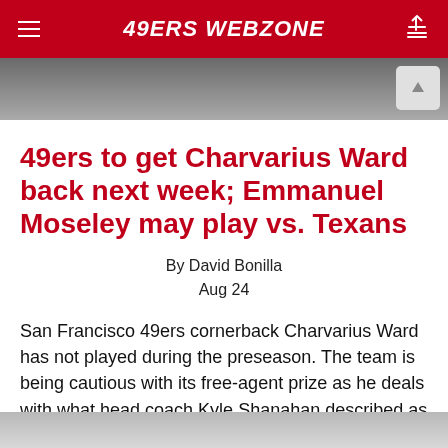49ERS WEBZONE
[Figure (photo): Partial photo strip of a 49ers player in red and white jersey, cropped at top]
49ers to get Charvarius Ward back next week; Emmanuel Moseley may play vs. Texans
By David Bonilla
Aug 24
San Francisco 49ers cornerback Charvarius Ward has not played during the preseason. The team is being cautious with its free-agent prize as he deals with what head coach Kyle Shanahan described as "a muscle
Read More
[Figure (photo): Partial photo strip at bottom, appears to show hands or a person]